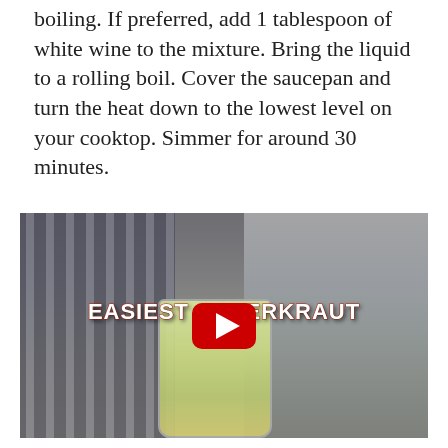boiling. If preferred, add 1 tablespoon of white wine to the mixture. Bring the liquid to a rolling boil. Cover the saucepan and turn the heat down to the lowest level on your cooktop. Simmer for around 30 minutes.
[Figure (screenshot): YouTube video thumbnail showing a person in a striped apron packing sauerkraut into a glass jar on a wooden counter, with kitchen appliances in the background. The video title 'EASIEST SAUERKRAUT' is overlaid in bold white text with a red play button.]